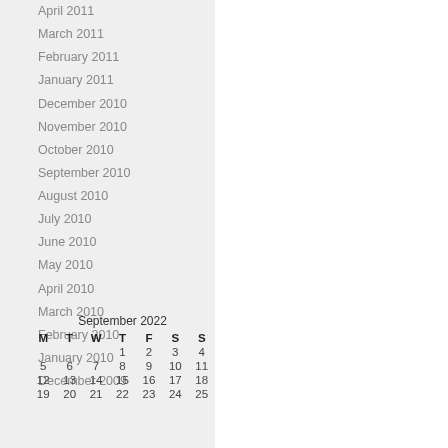April 2011
March 2011
February 2011
January 2011
December 2010
November 2010
October 2010
September 2010
August 2010
July 2010
June 2010
May 2010
April 2010
March 2010
February 2010
January 2010
December 2009
| M | T | W | T | F | S | S |
| --- | --- | --- | --- | --- | --- | --- |
|  |  |  | 1 | 2 | 3 | 4 |
| 5 | 6 | 7 | 8 | 9 | 10 | 11 |
| 12 | 13 | 14 | 15 | 16 | 17 | 18 |
| 19 | 20 | 21 | 22 | 23 | 24 | 25 |